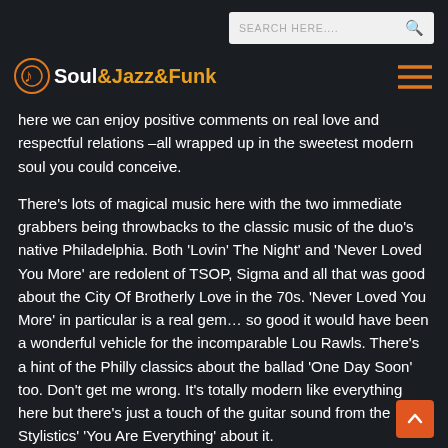Soul&Jazz&Funk — SEARCH HERE....
here we can enjoy positive comments on real love and respectful relations –all wrapped up in the sweetest modern soul you could conceive.
There's lots of magical music here with the two immediate grabbers being throwbacks to the classic music of the duo's native Philadelphia. Both 'Lovin' The Night' and 'Never Loved You More' are redolent of TSOP, Sigma and all that was good about the City Of Brotherly Love in the 70s. 'Never Loved You More' in particular is a real gem… so good it would have been a wonderful vehicle for the incomparable Lou Rawls. There's a hint of the Philly classics about the ballad 'One Day Soon' too. Don't get me wrong. It's totally modern like everything here but there's just a touch of the guitar sound from the Stylistics' 'You Are Everything' about it.